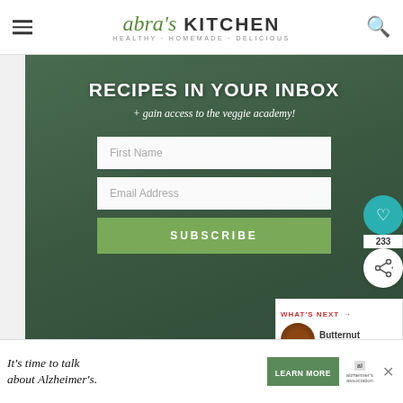Abra's Kitchen — HEALTHY · HOMEMADE · DELICIOUS
RECIPES IN YOUR INBOX
+ gain access to the veggie academy!
[Figure (screenshot): Email subscription form with First Name and Email Address fields and a green SUBSCRIBE button, overlaid on a dark green background with a blurred image of a woman holding vegetables]
WHAT'S NEXT → Butternut Squash...
It's time to talk about Alzheimer's.
LEARN MORE
233